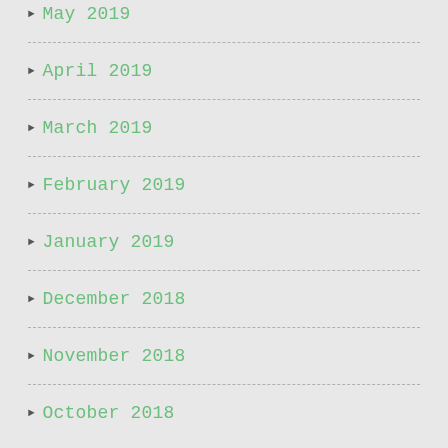May 2019
April 2019
March 2019
February 2019
January 2019
December 2018
November 2018
October 2018